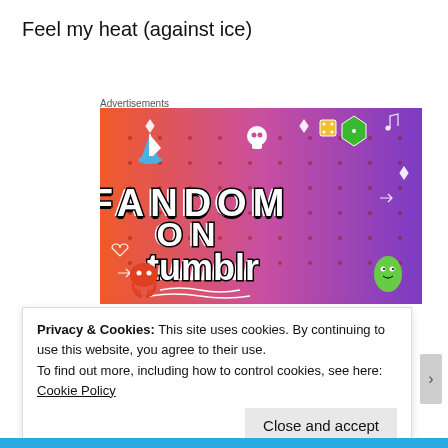Feel my heat (against ice)
Advertisements
[Figure (illustration): Fandom on Tumblr promotional banner image with colorful gradient background (orange to purple) featuring white illustrated icons (skull, boat, dice, music notes, hearts, arrows) and bold text reading 'FANDOM ON tumblr']
Privacy & Cookies: This site uses cookies. By continuing to use this website, you agree to their use.
To find out more, including how to control cookies, see here: Cookie Policy
Close and accept